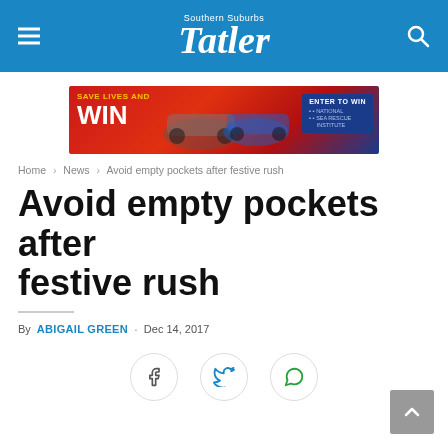Southern Suburbs Tatler
[Figure (other): Advertisement banner: 'SAVE LIVES AND WIN — ENTER TO WIN — National Sea Rescue Institute' with cars on red background]
Home > News > Avoid empty pockets after festive rush
Avoid empty pockets after festive rush
By ABIGAIL GREEN . Dec 14, 2017
[Figure (infographic): Social share buttons: Facebook, Twitter, WhatsApp]